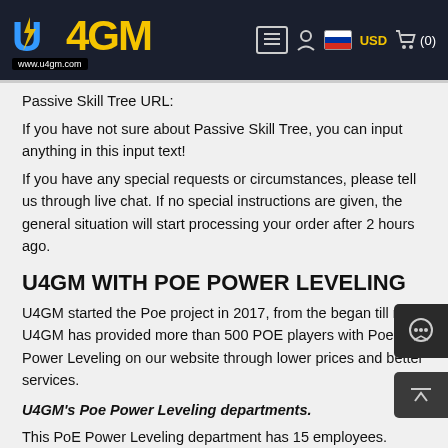U4GM www.u4gm.com — USD (0)
Passive Skill Tree URL:
If you have not sure about Passive Skill Tree, you can input anything in this input text!
If you have any special requests or circumstances, please tell us through live chat. If no special instructions are given, the general situation will start processing your order after 2 hours ago.
U4GM WITH POE POWER LEVELING
U4GM started the Poe project in 2017, from the began till now, U4GM has provided more than 500 POE players with Poe Power Leveling on our website through lower prices and better services.
U4GM's Poe Power Leveling departments.
This PoE Power Leveling department has 15 employees. Those employees are profession Path of Exile Player most of the